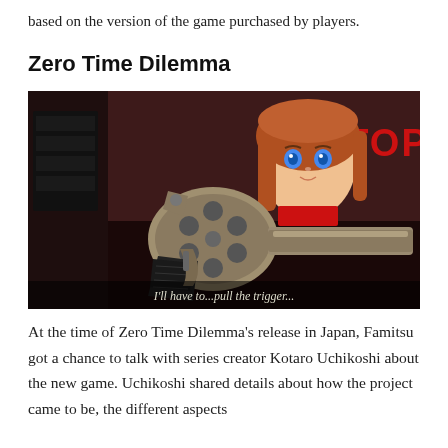based on the version of the game purchased by players.
Zero Time Dilemma
[Figure (screenshot): Screenshot from Zero Time Dilemma game showing a close-up of a revolver handgun in the foreground with an anime-style female character with blue eyes and red/brown hair in the background. A red 'STOP' sign with a downward arrow is visible in the upper right. Subtitle text reads: I'll have to...pull the trigger...]
At the time of Zero Time Dilemma's release in Japan, Famitsu got a chance to talk with series creator Kotaro Uchikoshi about the new game. Uchikoshi shared details about how the project came to be, the different aspects